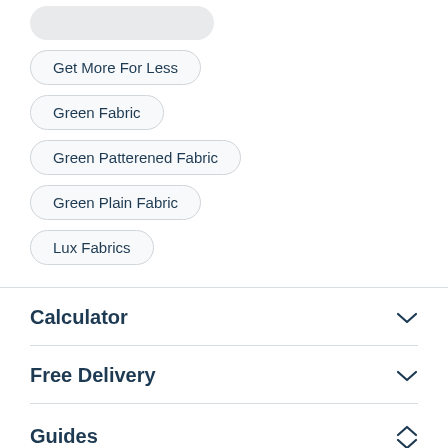Get More For Less
Green Fabric
Green Patterened Fabric
Green Plain Fabric
Lux Fabrics
Calculator
Free Delivery
Guides